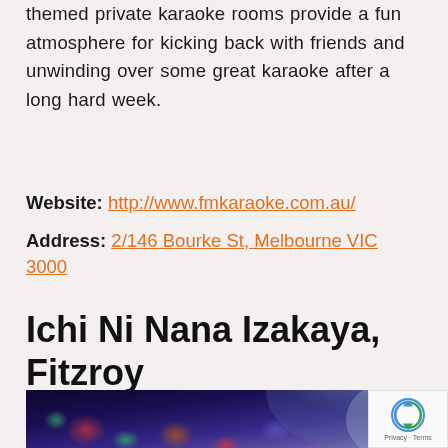themed private karaoke rooms provide a fun atmosphere for kicking back with friends and unwinding over some great karaoke after a long hard week.
Website: http://www.fmkaraoke.com.au/
Address: 2/146 Bourke St, Melbourne VIC 3000
Ichi Ni Nana Izakaya, Fitzroy
[Figure (photo): Blurred photo of a person singing karaoke with colorful bokeh lights in the background]